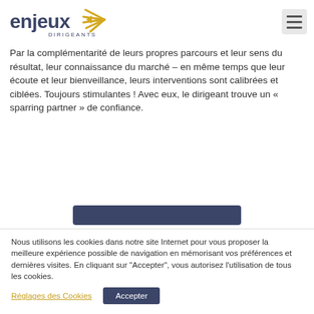enjeux DIRIGEANTS
Par la complémentarité de leurs propres parcours et leur sens du résultat, leur connaissance du marché – en même temps que leur écoute et leur bienveillance, leurs interventions sont calibrées et ciblées. Toujours stimulantes ! Avec eux, le dirigeant trouve un « sparring partner » de confiance.
Nous utilisons les cookies dans notre site Internet pour vous proposer la meilleure expérience possible de navigation en mémorisant vos préférences et dernières visites. En cliquant sur "Accepter", vous autorisez l'utilisation de tous les cookies.